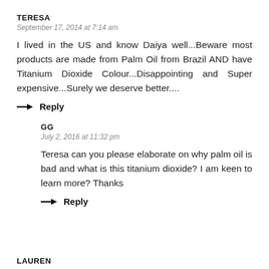TERESA
September 17, 2014 at 7:14 am
I lived in the US and know Daiya well...Beware most products are made from Palm Oil from Brazil AND have Titanium Dioxide Colour...Disappointing and Super expensive...Surely we deserve better....
→ Reply
GG
July 2, 2016 at 11:32 pm
Teresa can you please elaborate on why palm oil is bad and what is this titanium dioxide? I am keen to learn more? Thanks
→ Reply
LAUREN